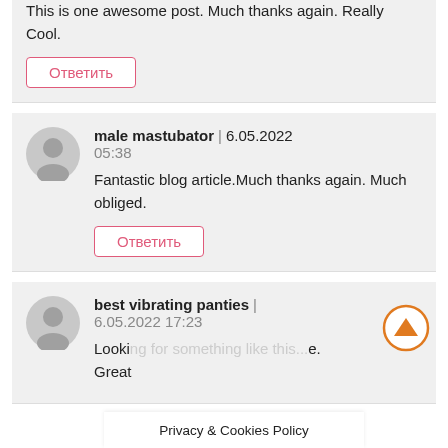This is one awesome post. Much thanks again. Really Cool.
Ответить
male mastubator | 6.05.2022 05:38
Fantastic blog article.Much thanks again. Much obliged.
Ответить
best vibrating panties | 6.05.2022 17:23
Looki... Great...
Privacy & Cookies Policy